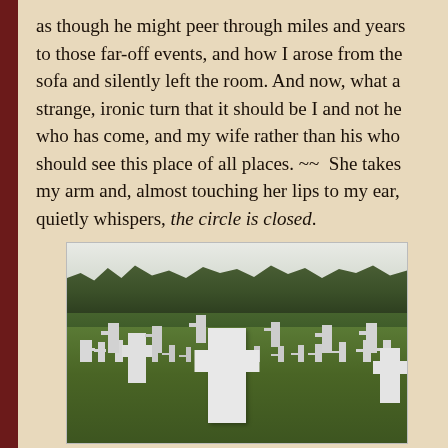as though he might peer through miles and years to those far-off events, and how I arose from the sofa and silently left the room. And now, what a strange, ironic turn that it should be I and not he who has come, and my wife rather than his who should see this place of all places. ~~  She takes my arm and, almost touching her lips to my ear, quietly whispers, the circle is closed.
[Figure (photo): A military cemetery with rows of white crosses on green grass, with trees in the background and an overcast sky. A large white cross is prominent in the foreground.]